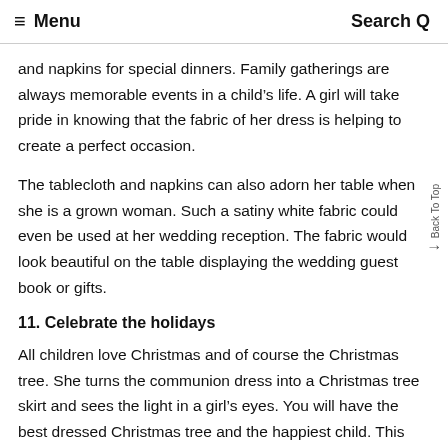≡ Menu   Search Q
and napkins for special dinners. Family gatherings are always memorable events in a child's life. A girl will take pride in knowing that the fabric of her dress is helping to create a perfect occasion.
The tablecloth and napkins can also adorn her table when she is a grown woman. Such a satiny white fabric could even be used at her wedding reception. The fabric would look beautiful on the table displaying the wedding guest book or gifts.
11. Celebrate the holidays
All children love Christmas and of course the Christmas tree. She turns the communion dress into a Christmas tree skirt and sees the light in a girl's eyes. You will have the best dressed Christmas tree and the happiest child. This festive Christmas tree skirt will look on-trend during every holiday season. To match her